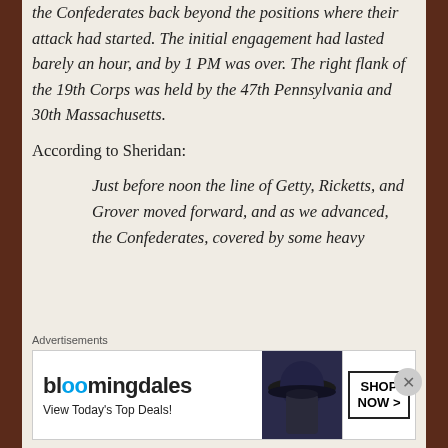the Confederates back beyond the positions where their attack had started. The initial engagement had lasted barely an hour, and by 1 PM was over. The right flank of the 19th Corps was held by the 47th Pennsylvania and 30th Massachusetts.
According to Sheridan:
Just before noon the line of Getty, Ricketts, and Grover moved forward, and as we advanced, the Confederates, covered by some heavy
Advertisements
[Figure (other): Bloomingdales advertisement banner: 'bloomingdales - View Today's Top Deals!' with a woman wearing a wide-brim hat and a 'SHOP NOW >' button]